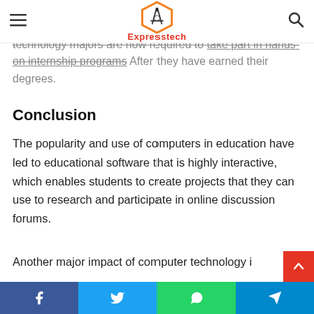Expresstech
An increasing number of people are turning to IT specialists for assistance with their career goals. Some technology majors are now required to take part in hands-on internship programs after they have earned their degrees.
Conclusion
The popularity and use of computers in education have led to educational software that is highly interactive, which enables students to create projects that they can use to research and participate in online discussion forums.
Another major impact of computer technology i…